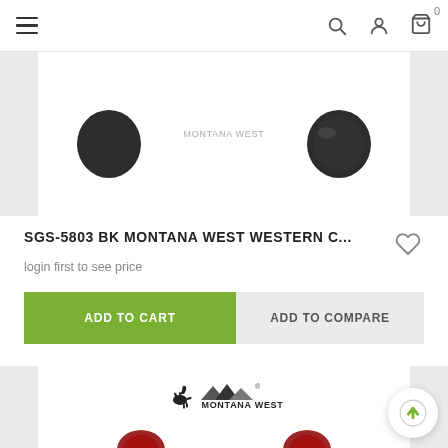Navigation bar with hamburger menu, search, account, and cart (0 items)
[Figure (photo): Partial product image showing sunglasses, cropped at top of frame — visible portions of black sunglasses frames and lenses on white card background with light gray outer border]
SGS-5803 BK MONTANA WEST WESTERN C...
login first to see price
ADD TO CART
ADD TO COMPARE
[Figure (photo): Partial product card showing Montana West logo (horse + mountains) and partial sunglasses image at the bottom, cut off at page edge]
[Figure (logo): Montana West logo with rearing horse silhouette, mountain peaks, and text MONTANA WEST with registered trademark symbol]